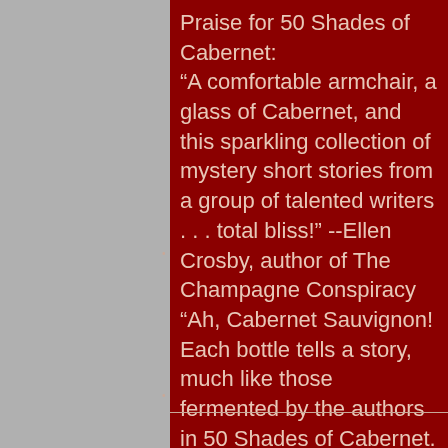Praise for 50 Shades of Cabernet: “A comfortable armchair, a glass of Cabernet, and this sparkling collection of mystery short stories from a group of talented writers . . . total bliss!” --Ellen Crosby, author of The Champagne Conspiracy “Ah, Cabernet Sauvignon! Each bottle tells a story, much like those fermented by the authors in 50 Shades of Cabernet. Pleasing all palates, this collection has a wide range of ‘tasting notes, ’ from light bodied and easy on the palate, to h